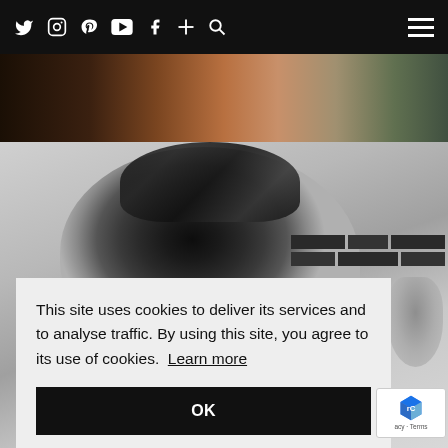Navigation bar with social icons: Twitter, Instagram, Pinterest, YouTube, Facebook, plus, search, and hamburger menu
[Figure (photo): Partial top photo strip showing people in warm-toned clothing, cropped at top]
[Figure (photo): Black and white photograph of a person with braided hair looking upward, with brick wall and hand visible in background]
This site uses cookies to deliver its services and to analyse traffic. By using this site, you agree to its use of cookies. Learn more
OK
[Figure (other): reCAPTCHA badge showing Google reCAPTCHA logo with Privacy - Terms text]